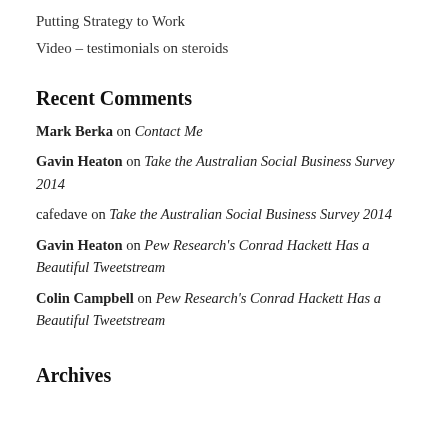Putting Strategy to Work
Video – testimonials on steroids
Recent Comments
Mark Berka on Contact Me
Gavin Heaton on Take the Australian Social Business Survey 2014
cafedave on Take the Australian Social Business Survey 2014
Gavin Heaton on Pew Research's Conrad Hackett Has a Beautiful Tweetstream
Colin Campbell on Pew Research's Conrad Hackett Has a Beautiful Tweetstream
Archives